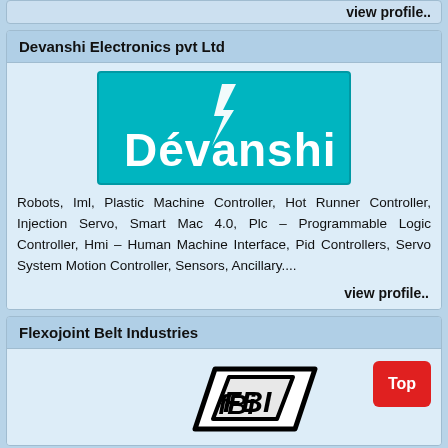view profile..
Devanshi Electronics pvt Ltd
[Figure (logo): Devanshi Electronics logo — teal/cyan background with white bold text 'Devanshi' and a lightning bolt graphic above the 'e']
Robots, Iml, Plastic Machine Controller, Hot Runner Controller, Injection Servo, Smart Mac 4.0, Plc – Programmable Logic Controller, Hmi – Human Machine Interface, Pid Controllers, Servo System Motion Controller, Sensors, Ancillary....
view profile..
Flexojoint Belt Industries
[Figure (logo): Flexojoint Belt Industries logo — stylized 'FBI' letters in bold outlined font]